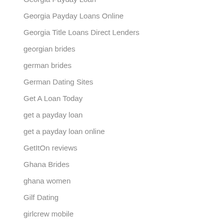Georgia Payday Loan
Georgia Payday Loans Online
Georgia Title Loans Direct Lenders
georgian brides
german brides
German Dating Sites
Get A Loan Today
get a payday loan
get a payday loan online
GetItOn reviews
Ghana Brides
ghana women
Gilf Dating
girlcrew mobile
girlcrew promo code